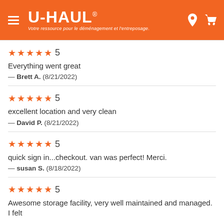[Figure (logo): U-Haul logo with orange header bar, hamburger menu icon, location pin icon, and cart icon. Tagline: Votre ressource pour le déménagement et l'entreposage.]
★★★★★ 5
Everything went great
— Brett A. (8/21/2022)
★★★★★ 5
excellent location and very clean
— David P. (8/21/2022)
★★★★★ 5
quick sign in...checkout. van was perfect! Merci.
— susan S. (8/18/2022)
★★★★★ 5
Awesome storage facility, very well maintained and managed. I felt